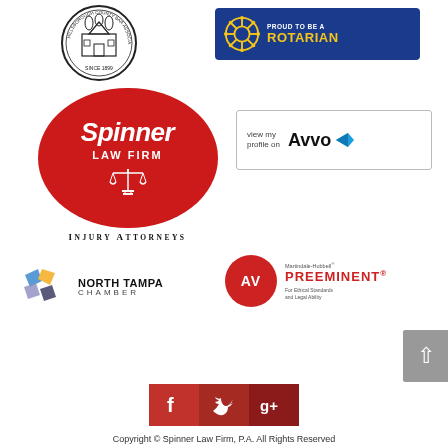[Figure (logo): Hillsborough County Bar Association seal with building and 'Since 1899']
[Figure (logo): Proud to be a Rotarian badge with Rotary wheel on blue background and yellow text]
[Figure (logo): Spinner Law Firm red oval logo with scales of justice and Injury Attorneys text]
[Figure (logo): View my profile on Avvo badge]
[Figure (logo): North Tampa Chamber logo with geometric gems]
[Figure (logo): Martindale-Hubbell AV Preeminent badge for Ethical Standards and Legal Ability]
[Figure (logo): Social media icons: Facebook, Twitter, Google+]
Copyright © Spinner Law Firm, P.A. All Rights Reserved